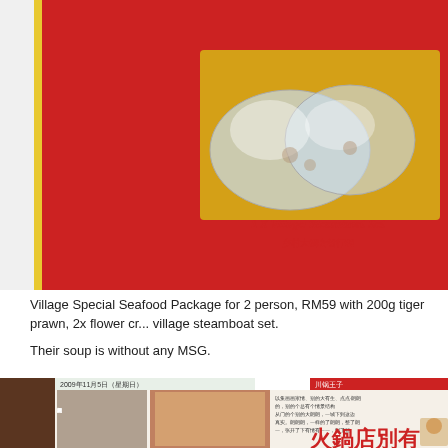[Figure (photo): Red box packaging for Village Steamboat Set showing clear plastic tray with seafood items. Yellow label reads '1 X Village Steamboat Set' with Chinese characters below. Red and yellow border visible on left edge.]
Village Special Seafood Package for 2 person, RM59 with 200g tiger prawn, 2x flower cr... village steamboat set.
Their soup is without any MSG.
[Figure (photo): Photo of a newspaper or magazine article about a steamboat restaurant, with Chinese text and red headline characters '火鍋店別有'. Shows images of food and a person.]